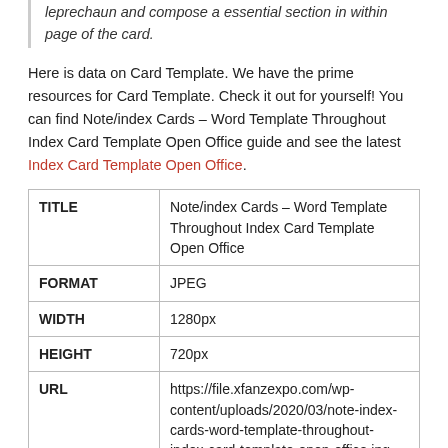leprechaun and compose a essential section in within page of the card.
Here is data on Card Template. We have the prime resources for Card Template. Check it out for yourself! You can find Note/index Cards – Word Template Throughout Index Card Template Open Office guide and see the latest Index Card Template Open Office.
|  |  |
| --- | --- |
| TITLE | Note/index Cards – Word Template Throughout Index Card Template Open Office |
| FORMAT | JPEG |
| WIDTH | 1280px |
| HEIGHT | 720px |
| URL | https://file.xfanzexpo.com/wp-content/uploads/2020/03/note-index-cards-word-template-throughout-index-card-template-open-office.jpg |
| PUBLISHED | March 31, 2020 |